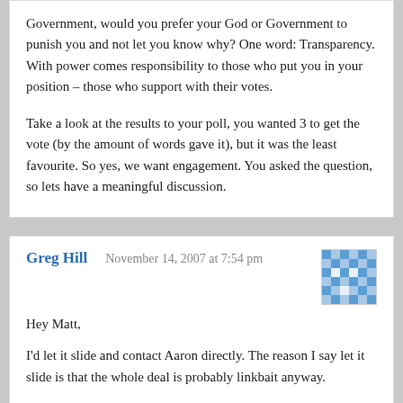Government, would you prefer your God or Government to punish you and not let you know why? One word: Transparency. With power comes responsibility to those who put you in your position – those who support with their votes.

Take a look at the results to your poll, you wanted 3 to get the vote (by the amount of words gave it), but it was the least favourite. So yes, we want engagement. You asked the question, so lets have a meaningful discussion.
Greg Hill
November 14, 2007 at 7:54 pm
Hey Matt,

I'd let it slide and contact Aaron directly. The reason I say let it slide is that the whole deal is probably linkbait anyway.